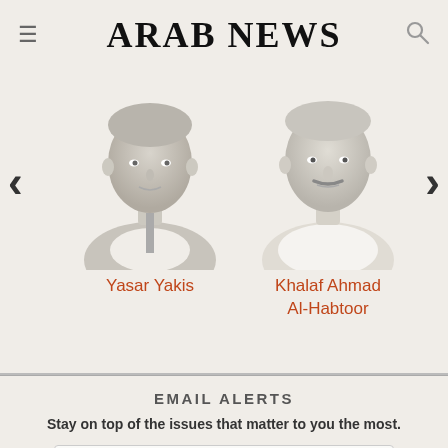ARAB NEWS
[Figure (photo): Greyscale portrait photo of Yasar Yakis]
Yasar Yakis
[Figure (photo): Greyscale portrait photo of Khalaf Ahmad Al-Habtoor]
Khalaf Ahmad Al-Habtoor
EMAIL ALERTS
Stay on top of the issues that matter to you the most.
Email address